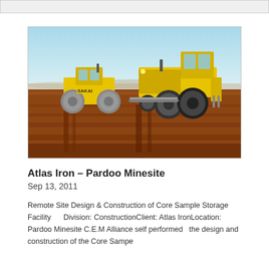[Figure (photo): Construction site showing two large yellow heavy machinery vehicles (a Sakai roller/compactor and a motor grader) operating on red/brown earthen ground under a clear blue sky. Flat arid landscape visible in the background.]
Atlas Iron – Pardoo Minesite
Sep 13, 2011
Remote Site Design & Construction of Core Sample Storage Facility    Division: ConstructionClient: Atlas IronLocation: Pardoo Minesite C.E.M Alliance self performed  the design and construction of the Core Sampe